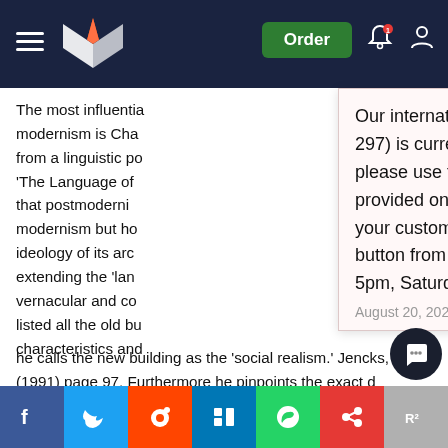Writing Experts — Order | Notifications | Account
The most influential modernism is Cha from a linguistic po 'The Language of that postmodernism modernism but ho ideology of its arch extending the 'lan vernacular and co listed all the old bu characteristics and he calls the new building as the 'social realism.' Jencks, C (1991) page 97. Furthermore he pinpoints the exact d for the death of 'modern architecture' as he mention a 3:32 pm, July 15, 1979 ... the Pruitt-Igoes housing project bui ...
Our international phone number (+971 600 575 297) is currently out of service. Whilst we fix this, please use the alternative phone numbers provided on the contact page, message through your customer account or click the WhatsApp button from your mobile (Monday – Friday 9am – 5pm, Saturday 10am – 6pm UK time).
August 20, 2022
Share buttons: Facebook, Twitter, Reddit, LinkedIn, WhatsApp, Mix, ResearchGate